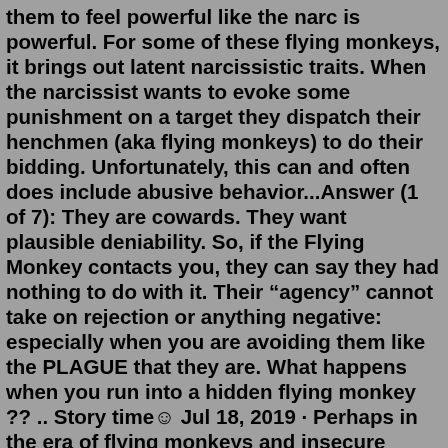them to feel powerful like the narc is powerful. For some of these flying monkeys, it brings out latent narcissistic traits. When the narcissist wants to evoke some punishment on a target they dispatch their henchmen (aka flying monkeys) to do their bidding. Unfortunately, this can and often does include abusive behavior...Answer (1 of 7): They are cowards. They want plausible deniability. So, if the Flying Monkey contacts you, they can say they had nothing to do with it. Their “agency” cannot take on rejection or anything negative: especially when you are avoiding them like the PLAGUE that they are. What happens when you run into a hidden flying monkey ?? .. Story time☺ Jul 18, 2019 · Perhaps in the era of flying monkeys and insecure narcissistic wizards, we need to hold out for Tin Men with hearts, Lions with courage and Scarecrows with brains. ... 52 Ways to Identify a Covert ... What happens when you run into a hidden flying monkey ?? .. Story time☺ They are, at best, a Flying Monkey not playing their own game with a full deck of cards — but it’s important to note that Covert